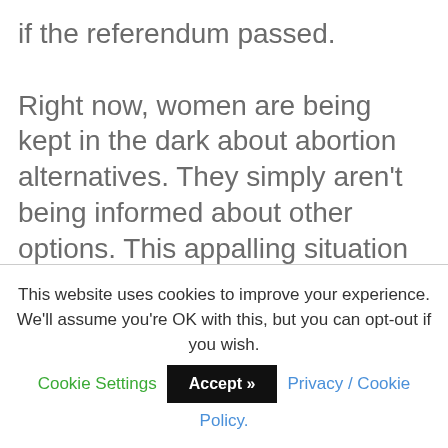if the referendum passed.

Right now, women are being kept in the dark about abortion alternatives. They simply aren't being informed about other options. This appalling situation cannot continue. The latest Amárach poll commissioned by the Pro Life Campaign shows an overwhelming 89% of people support women being offered information about alternatives before
This website uses cookies to improve your experience. We'll assume you're OK with this, but you can opt-out if you wish. Cookie Settings Accept >> Privacy / Cookie Policy.